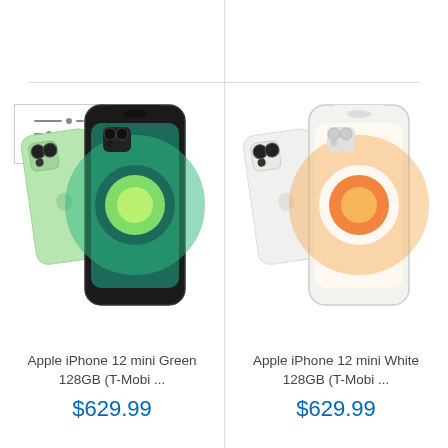[Figure (screenshot): Filter/sort icon with three horizontal sliders]
[Figure (photo): Apple iPhone 12 mini in Green color, showing front and back views]
Apple iPhone 12 mini Green 128GB (T-Mobi ...
$629.99
[Figure (photo): Apple iPhone 12 mini in White color, showing front and back views]
Apple iPhone 12 mini White 128GB (T-Mobi ...
$629.99